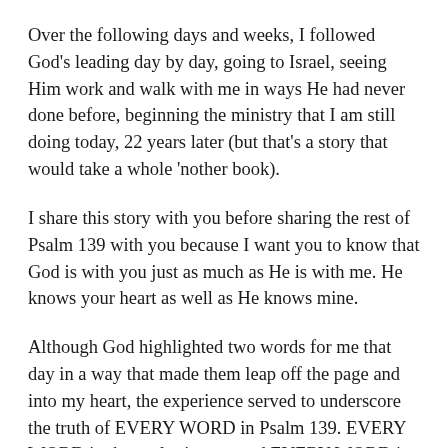Over the following days and weeks, I followed God's leading day by day, going to Israel, seeing Him work and walk with me in ways He had never done before, beginning the ministry that I am still doing today, 22 years later (but that's a story that would take a whole 'nother book).
I share this story with you before sharing the rest of Psalm 139 with you because I want you to know that God is with you just as much as He is with me. He knows your heart as well as He knows mine.
Although God highlighted two words for me that day in a way that made them leap off the page and into my heart, the experience served to underscore the truth of EVERY WORD in Psalm 139. EVERY WORD in the psalm is true, and EVERY WORD in it applies equally to you as it does to me.
With that in mind, if you're anxious about today, if you're unsure about what God is calling you to do next, or if you're needing